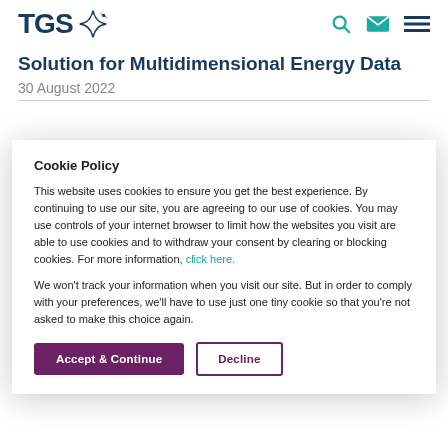TGS [logo with search, mail, menu icons]
Solution for Multidimensional Energy Data
30 August 2022
Cookie Policy
This website uses cookies to ensure you get the best experience. By continuing to use our site, you are agreeing to our use of cookies. You may use controls of your internet browser to limit how the websites you visit are able to use cookies and to withdraw your consent by clearing or blocking cookies. For more information, click here.
We won't track your information when you visit our site. But in order to comply with your preferences, we'll have to use just one tiny cookie so that you're not asked to make this choice again.